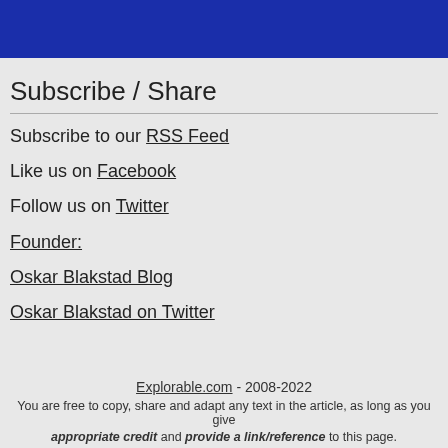Subscribe / Share
Subscribe to our RSS Feed
Like us on Facebook
Follow us on Twitter
Founder:
Oskar Blakstad Blog
Oskar Blakstad on Twitter
Explorable.com - 2008-2022
You are free to copy, share and adapt any text in the article, as long as you give appropriate credit and provide a link/reference to this page.